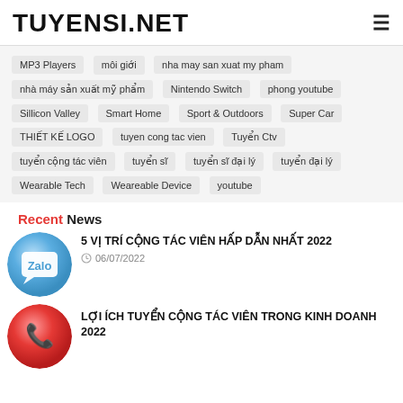TUYENSI.NET
MP3 Players
môi giới
nha may san xuat my pham
nhà máy sản xuất mỹ phẩm
Nintendo Switch
phong youtube
Sillicon Valley
Smart Home
Sport & Outdoors
Super Car
THIẾT KẾ LOGO
tuyen cong tac vien
Tuyển Ctv
tuyển cộng tác viên
tuyển sĩ
tuyển sĩ đại lý
tuyển đại lý
Wearable Tech
Weareable Device
youtube
Recent News
5 VỊ TRÍ CỘNG TÁC VIÊN HẤP DẪN NHẤT 2022
06/07/2022
LỢI ÍCH TUYỂN CỘNG TÁC VIÊN TRONG KINH DOANH 2022